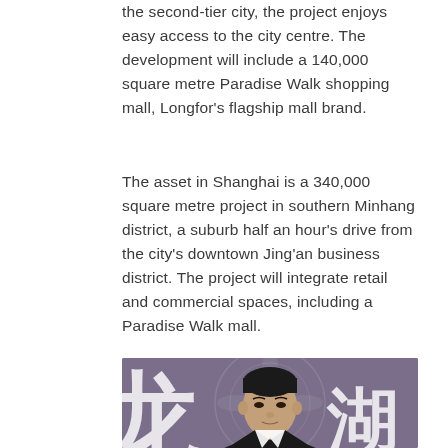the second-tier city, the project enjoys easy access to the city centre. The development will include a 140,000 square metre Paradise Walk shopping mall, Longfor's flagship mall brand.
The asset in Shanghai is a 340,000 square metre project in southern Minhang district, a suburb half an hour's drive from the city's downtown Jing'an business district. The project will integrate retail and commercial spaces, including a Paradise Walk mall.
[Figure (photo): Portrait photo of an Asian man with short dark hair wearing a dark suit, photographed against a purple/grey decorative background with large Chinese characters and floral motifs]